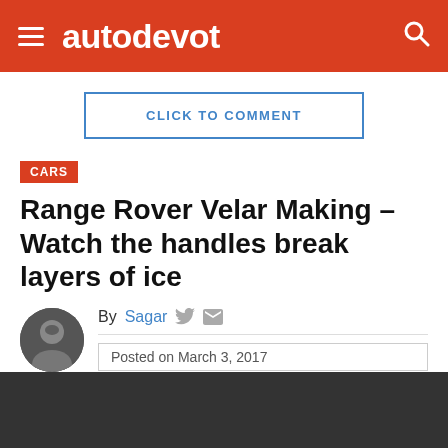autodevot
CLICK TO COMMENT
CARS
Range Rover Velar Making – Watch the handles break layers of ice
By Sagar
Posted on March 3, 2017
[Figure (other): Dark video player area showing 'This video is private' message with an exclamation icon]